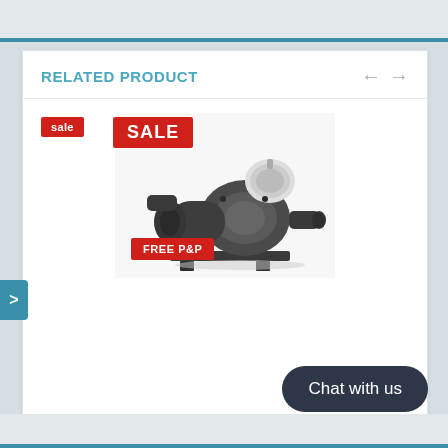RELATED PRODUCT
[Figure (photo): Astral Victoria Plus NG Single Phase Pump — a large industrial-style pool pump in dark grey/black with cylindrical motor body and pipe connections on each side. Red SALE badge at top left of image, red FREE P&P badge at bottom center. Small red 'sale' badge at top left corner of card.]
Astral Victoria Plus NG Single Phase Pump
★★★★★  2 reviews
£674.40 £607.92